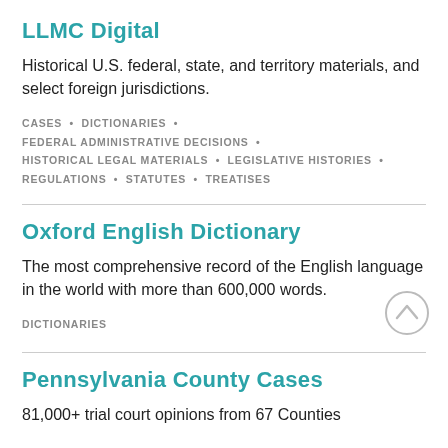LLMC Digital
Historical U.S. federal, state, and territory materials, and select foreign jurisdictions.
CASES • DICTIONARIES • FEDERAL ADMINISTRATIVE DECISIONS • HISTORICAL LEGAL MATERIALS • LEGISLATIVE HISTORIES • REGULATIONS • STATUTES • TREATISES
Oxford English Dictionary
The most comprehensive record of the English language in the world with more than 600,000 words.
DICTIONARIES
Pennsylvania County Cases
81,000+ trial court opinions from 67 Counties